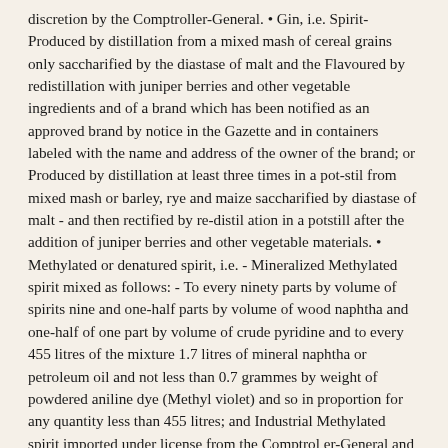discretion by the Comptroller-General. • Gin, i.e. Spirit- Produced by distillation from a mixed mash of cereal grains only saccharified by the diastase of malt and the Flavoured by redistillation with juniper berries and other vegetable ingredients and of a brand which has been notified as an approved brand by notice in the Gazette and in containers labeled with the name and address of the owner of the brand; or Produced by distillation at least three times in a pot-stil from mixed mash or barley, rye and maize saccharified by diastase of malt - and then rectified by re-distil ation in a potstill after the addition of juniper berries and other vegetable materials. • Methylated or denatured spirit, i.e. - Mineralized Methylated spirit mixed as follows: - To every ninety parts by volume of spirits nine and one-half parts by volume of wood naphtha and one-half of one part by volume of crude pyridine and to every 455 litres of the mixture 1.7 litres of mineral naphtha or petroleum oil and not less than 0.7 grammes by weight of powdered aniline dye (Methyl violet) and so in proportion for any quantity less than 455 litres; and Industrial Methylated spirit imported under license from the Comptrol er-General and mixed as follows: - To every ninety-five parts by volume of spirits five parts by volume of wood naphtha and one-half of one part by volume